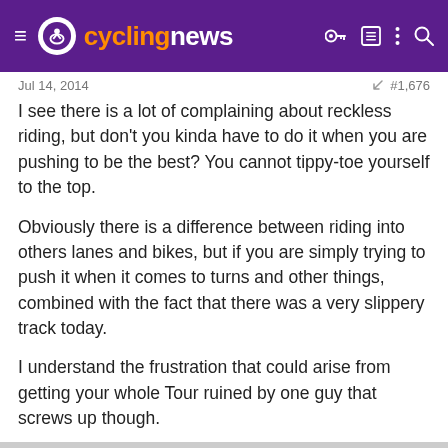cyclingnews
Jul 14, 2014   #1,676
I see there is a lot of complaining about reckless riding, but don't you kinda have to do it when you are pushing to be the best? You cannot tippy-toe yourself to the top.
Obviously there is a difference between riding into others lanes and bikes, but if you are simply trying to push it when it comes to turns and other things, combined with the fact that there was a very slippery track today.
I understand the frustration that could arise from getting your whole Tour ruined by one guy that screws up though.
ironhead
Jul 13, 2019   4   0   0